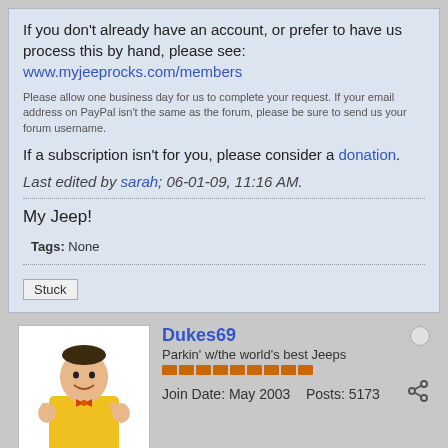If you don't already have an account, or prefer to have us process this by hand, please see: www.myjeeprocks.com/members
Please allow one business day for us to complete your request. If your email address on PayPal isn't the same as the forum, please be sure to send us your forum username.
If a subscription isn't for you, please consider a donation.
Last edited by sarah; 06-01-09, 11:16 AM.
My Jeep!
Tags: None
Stuck
Dukes69
Parkin' w/the world's best Jeeps
Join Date: May 2003    Posts: 5173
08-26-03, 06:21 PM    #2